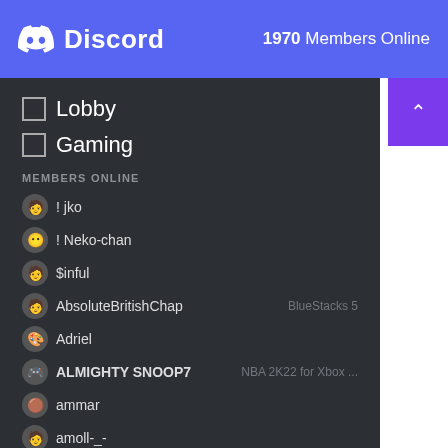Discord — 1970 Members Online
Lobby
Gaming
MEMBERS ONLINE
! jko
! Neko-chan
$inful
AbsoluteBritishChap — BlueStacks 5
Adriel
ALMIGHTY SNOOP7 — NBA 2K22 for Xbox ...
ammar
amoll-_-
asami
Azure
BadEnd
Black_leader08